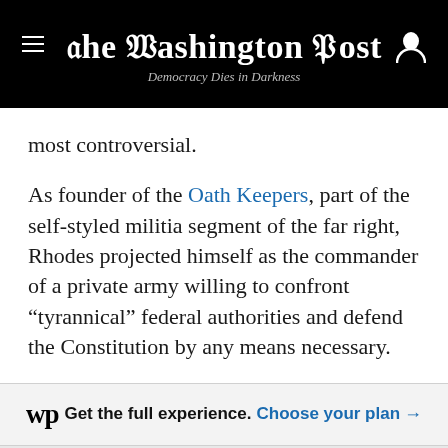The Washington Post — Democracy Dies in Darkness
most controversial.
As founder of the Oath Keepers, part of the self-styled militia segment of the far right, Rhodes projected himself as the commander of a private army willing to confront “tyrannical” federal authorities and defend the Constitution by any means necessary.
Get the full experience. Choose your plan →
In reality, according to extensive interviews with his